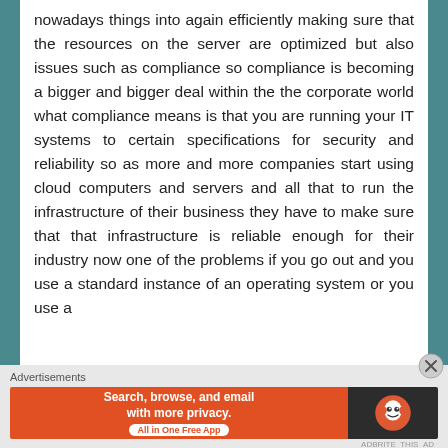nowadays things into again efficiently making sure that the resources on the server are optimized but also issues such as compliance so compliance is becoming a bigger and bigger deal within the the corporate world what compliance means is that you are running your IT systems to certain specifications for security and reliability so as more and more companies start using cloud computers and servers and all that to run the infrastructure of their business they have to make sure that that infrastructure is reliable enough for their industry now one of the problems if you go out and you use a standard instance of an operating system or you use a
[Figure (other): DuckDuckGo advertisement banner: orange left section with text 'Search, browse, and email with more privacy. All in One Free App', dark right section with DuckDuckGo logo]